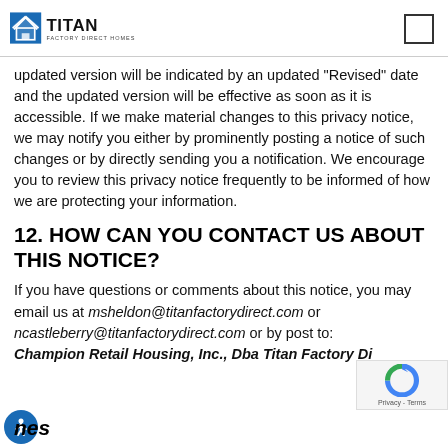Titan Factory Direct Homes logo and menu icon
updated version will be indicated by an updated "Revised" date and the updated version will be effective as soon as it is accessible. If we make material changes to this privacy notice, we may notify you either by prominently posting a notice of such changes or by directly sending you a notification. We encourage you to review this privacy notice frequently to be informed of how we are protecting your information.
12. HOW CAN YOU CONTACT US ABOUT THIS NOTICE?
If you have questions or comments about this notice, you may email us at msheldon@titanfactorydirect.com or ncastleberry@titanfactorydirect.com or by post to: Champion Retail Housing, Inc., Dba Titan Factory Di... nes